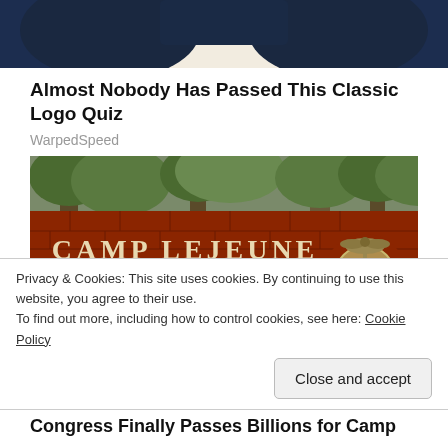[Figure (photo): Partial photo of a person wearing a dark navy uniform with a white/cream scarf or ascot, cropped at top]
Almost Nobody Has Passed This Classic Logo Quiz
WarpedSpeed
[Figure (photo): Photo of the Camp Lejeune brick sign reading 'CAMP LEJEUNE HOME OF EXPEDITIONARY' with Marine Corps emblem, trees in background]
Privacy & Cookies: This site uses cookies. By continuing to use this website, you agree to their use.
To find out more, including how to control cookies, see here: Cookie Policy
Congress Finally Passes Billions for Camp